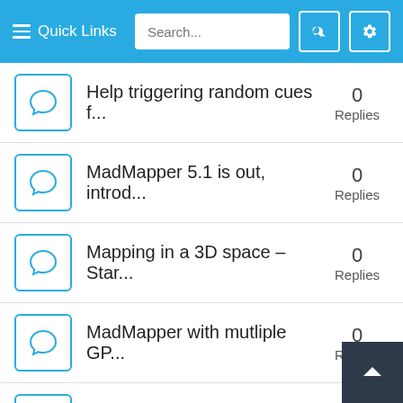Quick Links | Search...
Help triggering random cues f... — 0 Replies
MadMapper 5.1 is out, introd... — 0 Replies
Mapping in a 3D space – Star... — 0 Replies
MadMapper with mutliple GP... — 0 Replies
Modul8 3.1.11 is out and opti... — 0 Replies
Cymatic audio lp16 audio into — 0